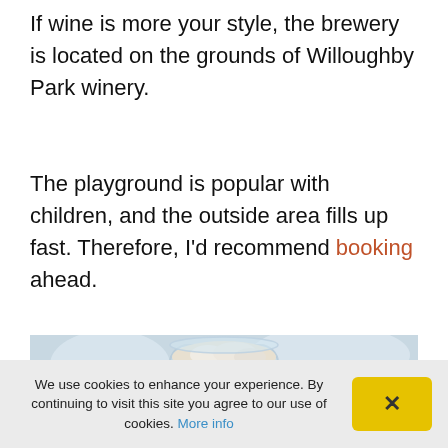If wine is more your style, the brewery is located on the grounds of Willoughby Park winery.
The playground is popular with children, and the outside area fills up fast. Therefore, I'd recommend booking ahead.
[Figure (photo): Close-up photo of a beer glass with a foamy head, blurred background with light tones.]
We use cookies to enhance your experience. By continuing to visit this site you agree to our use of cookies. More info